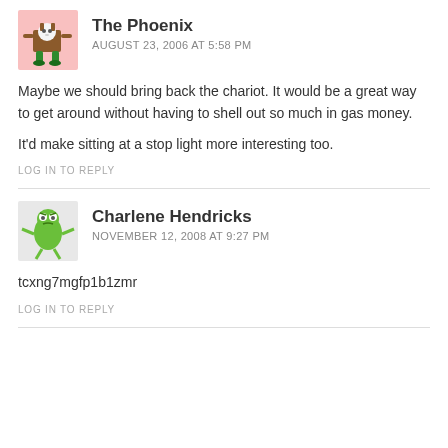The Phoenix
AUGUST 23, 2006 AT 5:58 PM
Maybe we should bring back the chariot. It would be a great way to get around without having to shell out so much in gas money.
It'd make sitting at a stop light more interesting too.
LOG IN TO REPLY
Charlene Hendricks
NOVEMBER 12, 2008 AT 9:27 PM
tcxng7mgfp1b1zmr
LOG IN TO REPLY